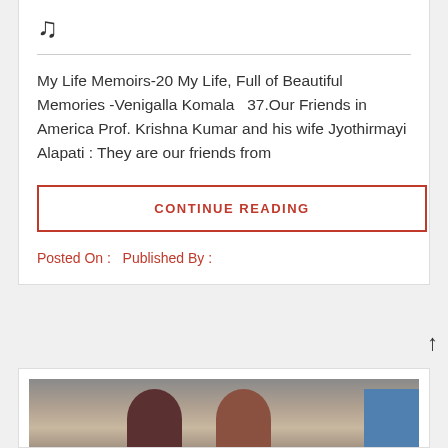My Life Memoirs-20 My Life, Full of Beautiful Memories -Venigalla Komala  37.Our Friends in America Prof. Krishna Kumar and his wife Jyothirmayi Alapati : They are our friends from
CONTINUE READING
Posted On :   Published By :
[Figure (photo): Photo of two people standing together indoors, with a blue panel visible on the right side]